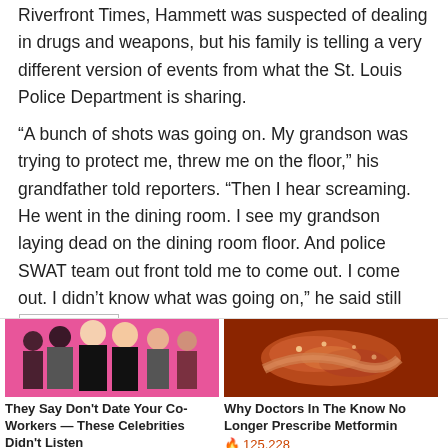Riverfront Times, Hammett was suspected of dealing in drugs and weapons, but his family is telling a very different version of events from what the St. Louis Police Department is sharing.
“A bunch of shots was going on. My grandson was trying to protect me, threw me on the floor,” his grandfather told reporters. “Then I hear screaming. He went in the dining room. I see my grandson laying dead on the dining room floor. And police SWAT team out front told me to come out. I come out. I didn’t know what was going on,” he said still [Promoted ×] state
[Figure (photo): Advertisement photo showing group of celebrities on pink background]
They Say Don't Date Your Co-Workers — These Celebrities Didn't Listen
🔥 159
[Figure (photo): Advertisement photo showing medical/anatomical image of organ]
Why Doctors In The Know No Longer Prescribe Metformin
🔥 125,228